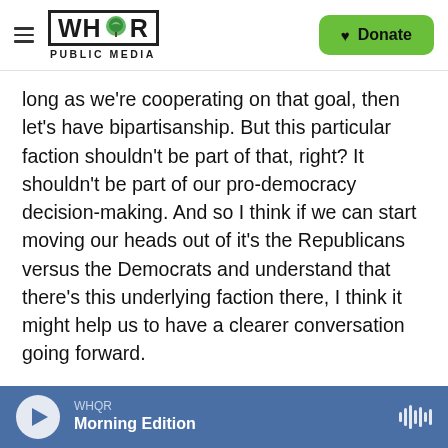WHOR PUBLIC MEDIA | Donate
long as we're cooperating on that goal, then let's have bipartisanship. But this particular faction shouldn't be part of that, right? It shouldn't be part of our pro-democracy decision-making. And so I think if we can start moving our heads out of it's the Republicans versus the Democrats and understand that there's this underlying faction there, I think it might help us to have a clearer conversation going forward.
KURTZLEBEN: That was Lilliana Mason, professor at Johns Hopkins University. She's the co-author of the study "Activating Animus: The Uniquely Social
WHQR  Morning Edition